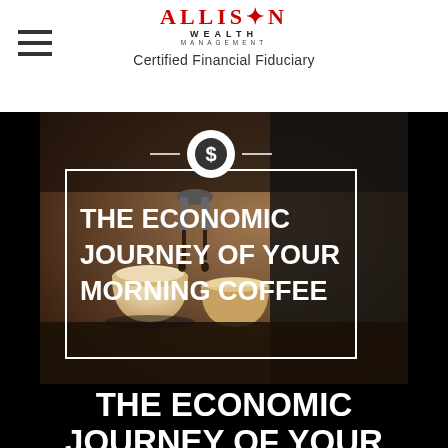Allison Wealth Management — Certified Financial Fiduciary
[Figure (photo): Coffee machine pouring espresso into cups with a white border box overlay and dollar coin icon, titled 'THE ECONOMIC JOURNEY OF YOUR MORNING COFFEE' in white bold text]
THE ECONOMIC JOURNEY OF YOUR MORNING COFFEE